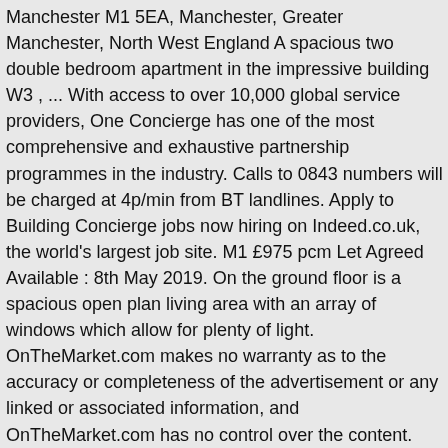Manchester M1 5EA, Manchester, Greater Manchester, North West England A spacious two double bedroom apartment in the impressive building W3 , ... With access to over 10,000 global service providers, One Concierge has one of the most comprehensive and exhaustive partnership programmes in the industry. Calls to 0843 numbers will be charged at 4p/min from BT landlines. Apply to Building Concierge jobs now hiring on Indeed.co.uk, the world's largest job site. M1 £975 pcm Let Agreed Available : 8th May 2019. On the ground floor is a spacious open plan living area with an array of windows which allow for plenty of light. OnTheMarket.com makes no warranty as to the accuracy or completeness of the advertisement or any linked or associated information, and OnTheMarket.com has no control over the content. Estate Agents. The W3 Building is located on Oxford Road and Whitworth Street. Help to Buy... £350,000 Offers in excess of, 2 bedroom apartment - If you're looking for a property, then get 37 Cross Street, City Centre, Grade II Listed Period Conversion - Penthouse Apartment - Fantastic Corner Position -